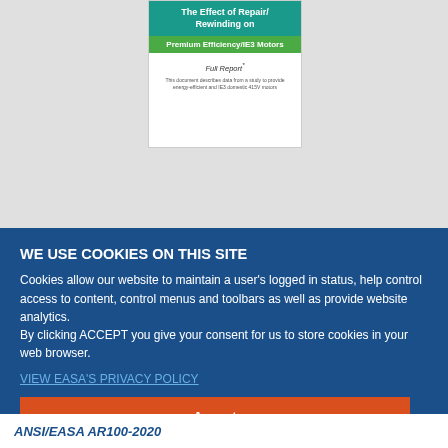[Figure (illustration): Partial book cover thumbnail showing title text about 'The Effect of Repair/Rewinding on Premium Efficiency/IE3 Motors', with teal header, green bar, and white body with 'Full Report' text]
WE USE COOKIES ON THIS SITE
Cookies allow our website to maintain a user's logged in status, help control access to content, control menus and toolbars as well as provide website analytics. By clicking ACCEPT you give your consent for us to store cookies in your web browser.
VIEW EASA'S PRIVACY POLICY
Accept
ANSI/EASA AR100-2020